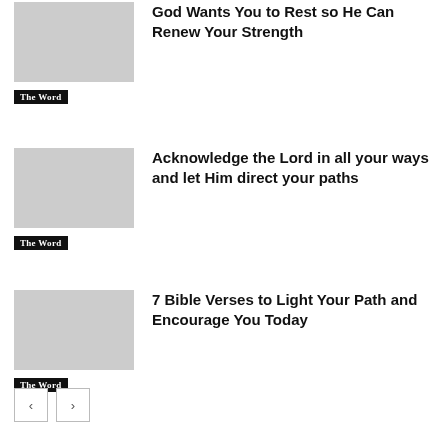God Wants You to Rest so He Can Renew Your Strength
The Word
Acknowledge the Lord in all your ways and let Him direct your paths
The Word
7 Bible Verses to Light Your Path and Encourage You Today
The Word